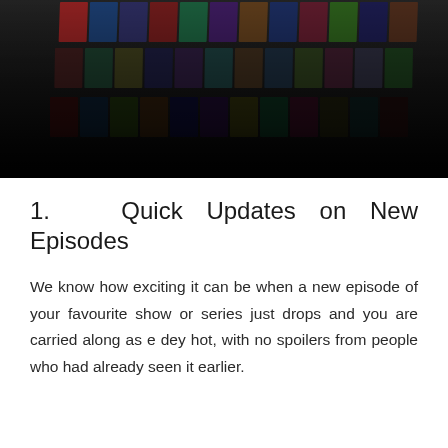[Figure (photo): A curved wall display of movie and TV show posters arranged in rows, with a dark gradient at the bottom, resembling a streaming service library.]
1.  Quick Updates on New Episodes
We know how exciting it can be when a new episode of your favourite show or series just drops and you are carried along as e dey hot, with no spoilers from people who had already seen it earlier.